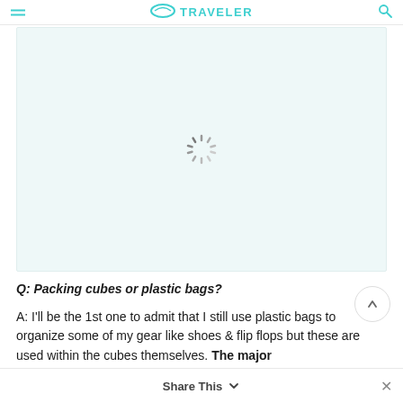TRAVELER
[Figure (other): Loading placeholder with spinner icon on light teal background, representing an image that has not yet loaded]
Q: Packing cubes or plastic bags?
A: I'll be the 1st one to admit that I still use plastic bags to organize some of my gear like shoes & flip flops but these are used within the cubes themselves. The major